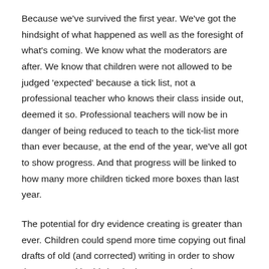Because we've survived the first year. We've got the hindsight of what happened as well as the foresight of what's coming. We know what the moderators are after. We know that children were not allowed to be judged 'expected' because a tick list, not a professional teacher who knows their class inside out, deemed it so. Professional teachers will now be in danger of being reduced to teach to the tick-list more than ever because, at the end of the year, we've all got to show progress. And that progress will be linked to how many more children ticked more boxes than last year.
The potential for dry evidence creating is greater than ever. Children could spend more time copying out final drafts of old (and corrected) writing in order to show that now, and in this book, they can use the progressive form appropriately. Teachers may be told to abandon creative ideas in order to churn out standards baiting paragraph openers – or